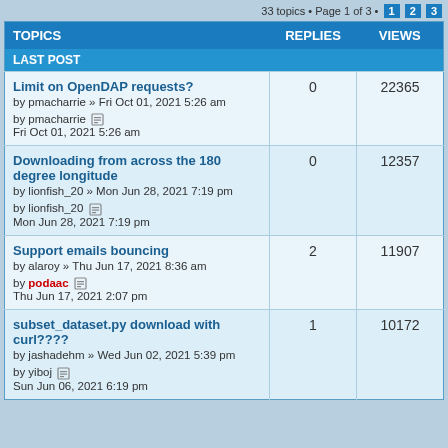33 topics • Page 1 of 3 • 1 2 3
| TOPICS | REPLIES | VIEWS | LAST POST |
| --- | --- | --- | --- |
| Limit on OpenDAP requests?
by pmacharrie » Fri Oct 01, 2021 5:26 am
by pmacharrie Fri Oct 01, 2021 5:26 am | 0 | 22365 |
| Downloading from across the 180 degree longitude
by lionfish_20 » Mon Jun 28, 2021 7:19 pm
by lionfish_20 Mon Jun 28, 2021 7:19 pm | 0 | 12357 |
| Support emails bouncing
by alaroy » Thu Jun 17, 2021 8:36 am
by podaac Thu Jun 17, 2021 2:07 pm | 2 | 11907 |
| subset_dataset.py download with curl????
by jashadehm » Wed Jun 02, 2021 5:39 pm
by yiboj Sun Jun 06, 2021 6:19 pm | 1 | 10172 |